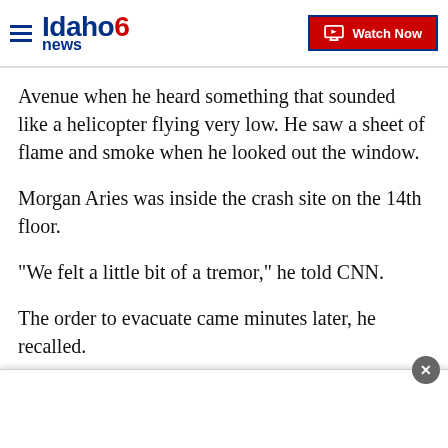Idaho News 6 — Watch Now
Avenue when he heard something that sounded like a helicopter flying very low. He saw a sheet of flame and smoke when he looked out the window.
Morgan Aries was inside the crash site on the 14th floor.
"We felt a little bit of a tremor," he told CNN.
The order to evacuate came minutes later, he recalled.
"There was a moment in which we all couldn't get out of the building because we're all just backlogged in